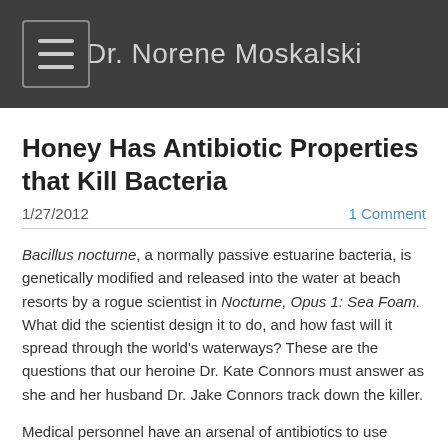Dr. Norene Moskalski
Honey Has Antibiotic Properties that Kill Bacteria
1/27/2012    1 Comment
Bacillus nocturne, a normally passive estuarine bacteria, is genetically modified and released into the water at beach resorts by a rogue scientist in Nocturne, Opus 1: Sea Foam. What did the scientist design it to do, and how fast will it spread through the world's waterways? These are the questions that our heroine Dr. Kate Connors must answer as she and her husband Dr. Jake Connors track down the killer.
Medical personnel have an arsenal of antibiotics to use against bacterial infections, but some of those bacteria have become resistant to the well known antibiotics in use today. Research to discover new antibiotics is an ongoing process, and some say it is a race against time.
Are there other ways to stop a bacterial infection if all the antibiotics fail? Would it be a good